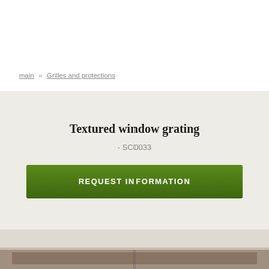main » Grilles and protections
Textured window grating
- SC0033
REQUEST INFORMATION
[Figure (photo): Bottom strip showing partial view of a textured window grating product photo]